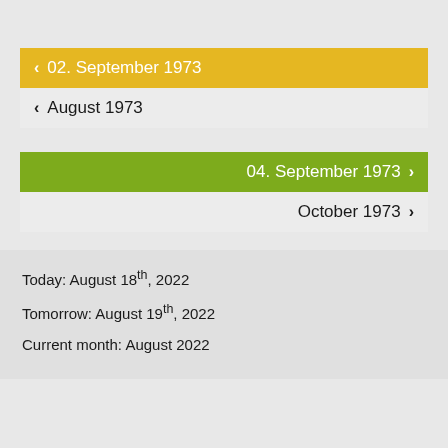< 02. September 1973
< August 1973
04. September 1973 >
October 1973 >
Today: August 18th, 2022
Tomorrow: August 19th, 2022
Current month: August 2022